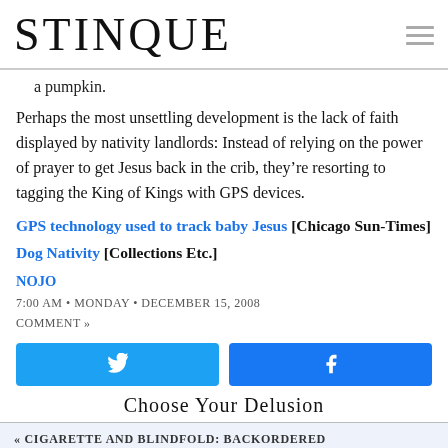STINQUE
a pumpkin.
Perhaps the most unsettling development is the lack of faith displayed by nativity landlords: Instead of relying on the power of prayer to get Jesus back in the crib, they’re resorting to tagging the King of Kings with GPS devices.
GPS technology used to track baby Jesus [Chicago Sun-Times]
Dog Nativity [Collections Etc.]
NOJO
7:00 AM • MONDAY • DECEMBER 15, 2008
COMMENT »
[Figure (other): Twitter and Facebook share buttons]
Choose Your Delusion
« CIGARETTE AND BLINDFOLD: BACKORDERED
SHOE GUY IS SCREWED »